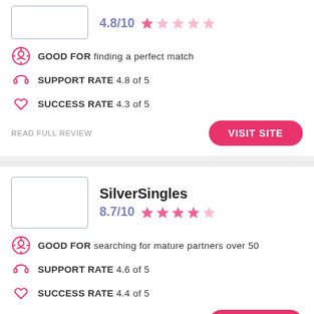4.8/10 ★★☆☆☆
GOOD FOR finding a perfect match
SUPPORT RATE 4.8 of 5
SUCCESS RATE 4.3 of 5
READ FULL REVIEW
VISIT SITE
SilverSingles
8.7/10 ★★★★☆
GOOD FOR searching for mature partners over 50
SUPPORT RATE 4.6 of 5
SUCCESS RATE 4.4 of 5